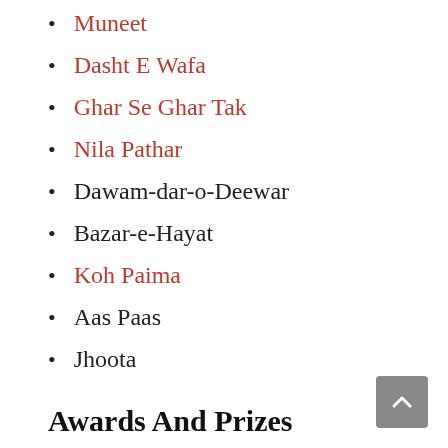Muneet
Dasht E Wafa
Ghar Se Ghar Tak
Nila Pathar
Dawam-dar-o-Deewar
Bazar-e-Hayat
Koh Paima
Aas Paas
Jhoota
Awards And Prizes
Ahmad Nadeem Qasmi received many important awards and prizes. Some of the